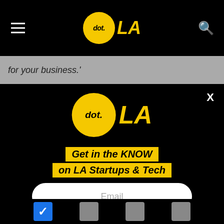[Figure (logo): dot.LA logo in navigation bar — yellow circle with 'dot.' text and 'LA' in yellow to the right, on black background]
for your business.'
[Figure (logo): dot.LA logo centered in modal — large yellow circle with 'dot.' text and 'LA' in yellow to the right, on black background]
Get in the KNOW on LA Startups & Tech
[Figure (screenshot): Email input field with placeholder text 'Email' and four checkboxes at bottom, first one checked in blue]